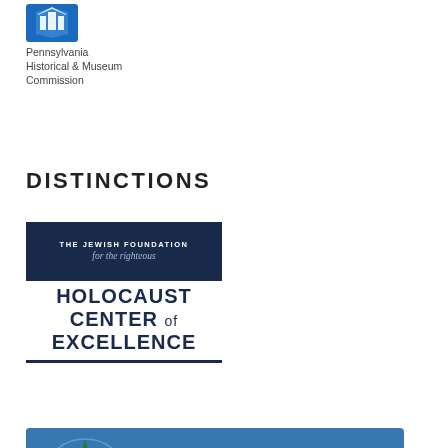[Figure (logo): Pennsylvania Historical & Museum Commission logo with blue icon and text]
DISTINCTIONS
[Figure (logo): The Jewish Foundation for the Righteous - Holocaust Center of Excellence logo, dark navy banner with italic text and bold headline]
[Figure (logo): Charity Navigator Four Star Charity badge - blue banner with four yellow stars]
[Figure (logo): United Way Award for Excellence logo - partially visible at bottom]